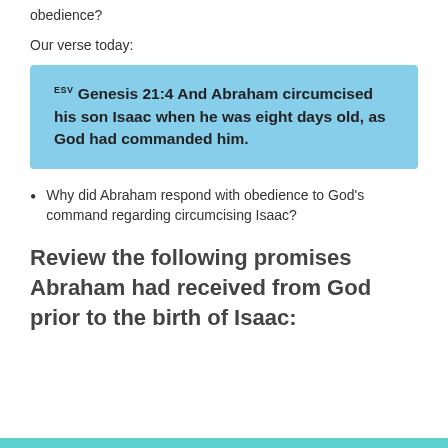obedience?
Our verse today:
ESV Genesis 21:4 And Abraham circumcised his son Isaac when he was eight days old, as God had commanded him.
Why did Abraham respond with obedience to God's command regarding circumcising Isaac?
Review the following promises Abraham had received from God prior to the birth of Isaac: